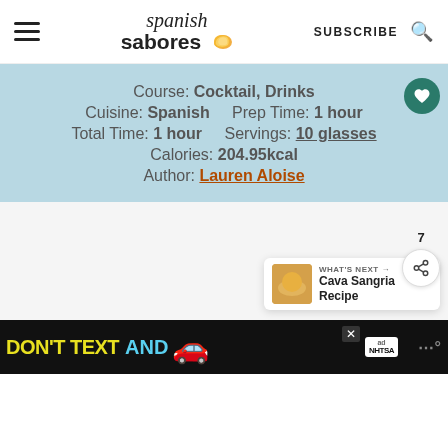Spanish Sabores — SUBSCRIBE
Course: Cocktail, Drinks
Cuisine: Spanish   Prep Time: 1 hour
Total Time: 1 hour   Servings: 10 glasses
Calories: 204.95kcal
Author: Lauren Aloise
7
WHAT'S NEXT → Cava Sangria Recipe
DON'T TEXT AND 🚗 ad NHTSA